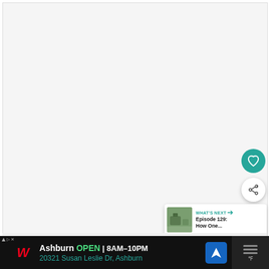[Figure (screenshot): Screenshot of a media player or podcast app interface. The main content area is a large light gray blank/white rectangle. On the right side there are two floating action buttons: a teal/green circular heart (favorite) button and a white circular share button. A 'WHAT'S NEXT' card appears at the bottom right showing a thumbnail and the text 'Episode 129: How One...']
[Figure (screenshot): Advertisement banner at the bottom of the screen for Walgreens. Shows 'Ashburn OPEN 8AM-10PM' and address '20321 Susan Leslie Dr, Ashburn' with navigation icon, on a dark/black background. Right side shows a weather/menu panel.]